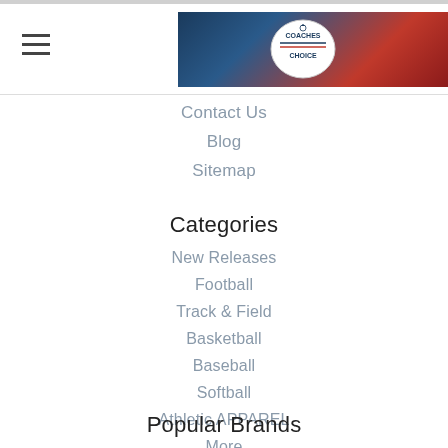[Figure (logo): Coaches Choice logo banner with sports background in blue and red]
Contact Us
Blog
Sitemap
Categories
New Releases
Football
Track & Field
Basketball
Baseball
Softball
Athletic APPAREL
More
Popular Brands